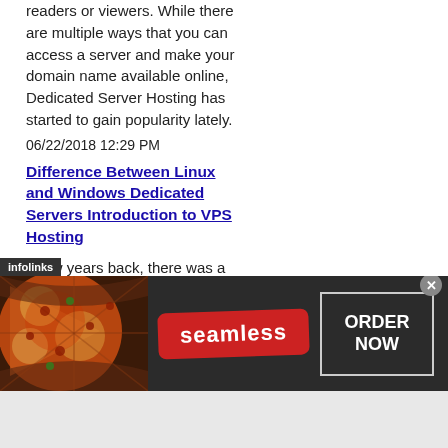readers or viewers. While there are multiple ways that you can access a server and make your domain name available online, Dedicated Server Hosting has started to gain popularity lately.
06/22/2018 12:29 PM
Difference Between Linux and Windows Dedicated Servers Introduction to VPS Hosting
A few years back, there was a fundamental difference between Windows Dedicated Server Hosting and Linux. However, nowadays the companies that use different hosting enjoys compatible services that reduce the difference to some extent. If you invest in a wrong server or a hosting package, no amount of make you satisfied
[Figure (infographic): Seamless food delivery advertisement banner with pizza image on left, Seamless logo in red badge in center, ORDER NOW button on right, dark background. Infolinks badge visible at top-left of ad.]